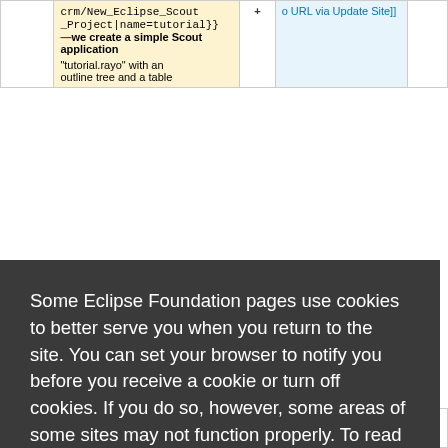[Figure (screenshot): Partial view of a wiki-style comparison table with two columns. Left column has yellowish background showing code text: 'crm/New_Eclipse_Scout_Project|name=tutorial}}' with a minus sign prefix, then text 'we create a simple Scout application "tutorial.rayo" with an outline tree and a table'. Right column has light blue background showing partial text 'o URL via Update Site]]'. A plus sign appears in a narrow middle column.]
Some Eclipse Foundation pages use cookies to better serve you when you return to the site. You can set your browser to notify you before you receive a cookie or turn off cookies. If you do so, however, some areas of some sites may not function properly. To read Eclipse Foundation Privacy Policy click here.